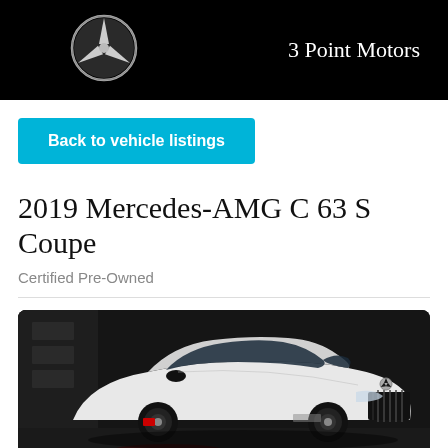3 Point Motors
Back to vehicle listings
2019 Mercedes-AMG C 63 S Coupe
Certified Pre-Owned
[Figure (photo): White 2019 Mercedes-AMG C 63 S Coupe photographed in a dark studio/garage setting, three-quarter front view showing the aggressive grille and low stance]